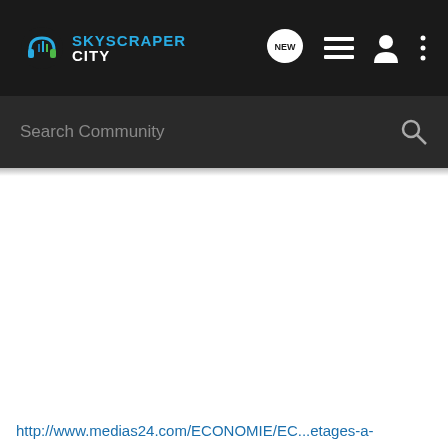[Figure (screenshot): SkyscraperCity website navigation bar with logo, NEW chat bubble icon, list icon, user icon, and three-dot menu icon on dark background]
Search Community
http://www.medias24.com/ECONOMIE/EC...etages-a-